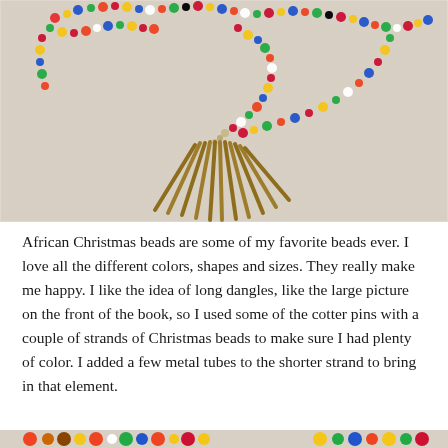[Figure (photo): Colorful African Christmas bead necklace with multi-colored beads on a linen background, with bronze/gold metal tube dangles fanning out at the bottom center]
African Christmas beads are some of my favorite beads ever. I love all the different colors, shapes and sizes. They really make me happy. I like the idea of long dangles, like the large picture on the front of the book, so I used some of the cotter pins with a couple of strands of Christmas beads to make sure I had plenty of color. I added a few metal tubes to the shorter strand to bring in that element.
[Figure (photo): Partial view of another colorful bead necklace at the bottom of the page]